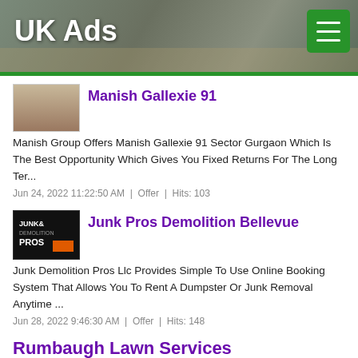UK Ads
Manish Gallexie 91
Manish Group Offers Manish Gallexie 91 Sector Gurgaon Which Is The Best Opportunity Which Gives You Fixed Returns For The Long Ter...
Jun 24, 2022 11:22:50 AM  |  Offer  |  Hits: 103
Junk Pros Demolition Bellevue
Junk Demolition Pros Llc Provides Simple To Use Online Booking System That Allows You To Rent A Dumpster Or Junk Removal Anytime ...
Jun 28, 2022 9:46:30 AM  |  Offer  |  Hits: 148
Rumbaugh Lawn Services
Rumbaugh Lawn Services Is A Locally Owned And Operated Fully Insured Lawn Care Company Specializing In Residential And Commercial ...
Jul 5, 2022 7:21:32 PM  |  Offer  |  Hits: 101
Armstrong Construction